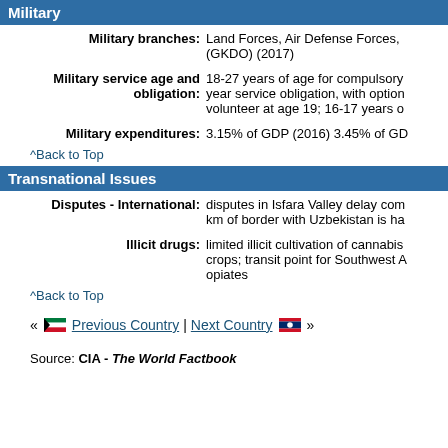Military
Military branches: Land Forces, Air Defense Forces, (GKDO) (2017)
Military service age and obligation: 18-27 years of age for compulsory year service obligation, with option volunteer at age 19; 16-17 years o
Military expenditures: 3.15% of GDP (2016) 3.45% of GD
^Back to Top
Transnational Issues
Disputes - International: disputes in Isfara Valley delay com km of border with Uzbekistan is ha
Illicit drugs: limited illicit cultivation of cannabis crops; transit point for Southwest A opiates
^Back to Top
« Previous Country | Next Country »
Source: CIA - The World Factbook